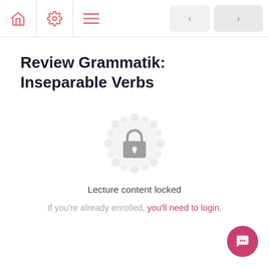Review Grammatik: Inseparable Verbs — navigation bar with home, settings, menu icons and prev/next buttons
Review Grammatik: Inseparable Verbs
[Figure (illustration): Decorative mandala/badge circle in light gray with a lock icon in the center, indicating locked content]
Lecture content locked
If you're already enrolled, you'll need to login.